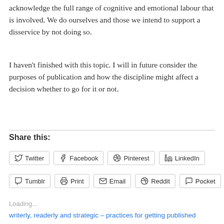acknowledge the full range of cognitive and emotional labour that is involved. We do ourselves and those we intend to support a disservice by not doing so.
I haven't finished with this topic. I will in future consider the purposes of publication and how the discipline might affect a decision whether to go for it or not.
Share this:
Twitter  Facebook  Pinterest  LinkedIn  Tumblr  Print  Email  Reddit  Pocket
Loading...
writerly, readerly and strategic – practices for getting published